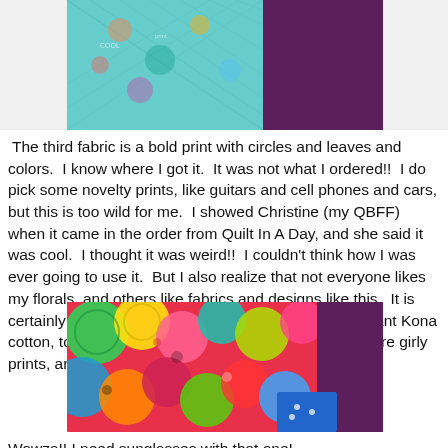[Figure (photo): Top portion of a photo showing a teal/turquoise quilted fabric with circles and text pattern on the left side, and deep purple/eggplant fabric on the right side.]
The third fabric is a bold print with circles and leaves and colors.  I know where I got it.  It was not what I ordered!!  I do pick some novelty prints, like guitars and cell phones and cars, but this is too wild for me.  I showed Christine (my QBFF) when it came in the order from Quilt In A Day, and she said it was cool.  I thought it was weird!!  I couldn't think how I was ever going to use it.  But I also realize that not everyone likes my florals, and others like fabrics and designs like this.  It is certainly bright and funky!  I paired that with the eggplant Kona cotton, too.  I added a little white trim to both of the more girly prints, and then washed them.
[Figure (photo): Photo of a bold, colorful quilt fabric with large circles, leaves, and bright multicolored designs in green, yellow, red, pink, teal, and blue. On the right edge is the same deep purple/eggplant fabric. In the lower right corner is a small piece of blue fabric with guitar prints.]
Wowza!! I need sunglasses with that one!